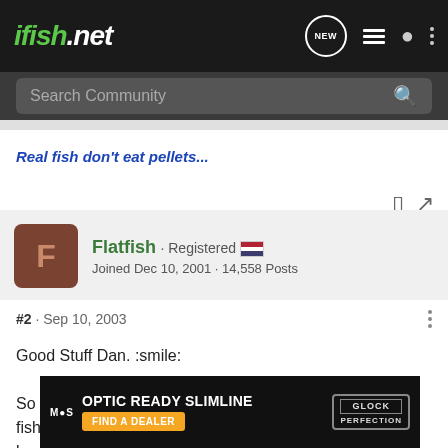ifish.net
Search Community
Real fish don't eat pellets...
Flatfish · Registered
Joined Dec 10, 2001 · 14,558 Posts
#2 · Sep 10, 2003
Good Stuff Dan. :smile:

So if what is implied can be inserted into other different fisheries... the broodst... g?
[Figure (screenshot): Advertisement overlay: OPTIC READY SLIMLINE, MOS, FIND A DEALER, GLOCK PERFECTION]